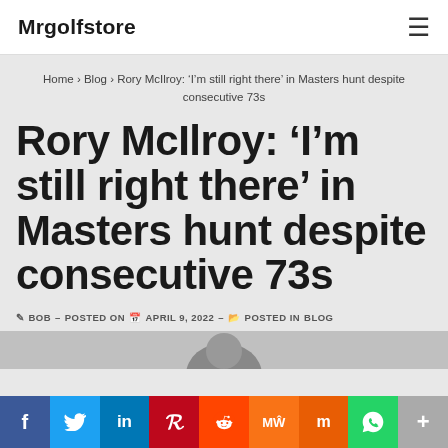Mrgolfstore
Home › Blog › Rory McIlroy: 'I'm still right there' in Masters hunt despite consecutive 73s
Rory McIlroy: 'I'm still right there' in Masters hunt despite consecutive 73s
BOB - POSTED ON APRIL 9, 2022 - POSTED IN BLOG
[Figure (photo): Partial photo of Rory McIlroy, partially visible at bottom of page]
Social share bar: Facebook, Twitter, LinkedIn, Pinterest, Reddit, MeWe, Mix, WhatsApp, More